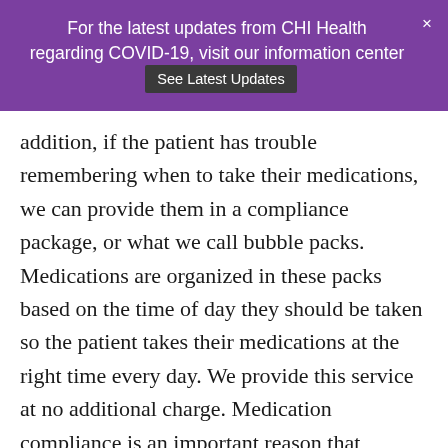For the latest updates from CHI Health regarding COVID-19, visit our information center  See Latest Updates  ×
addition, if the patient has trouble remembering when to take their medications, we can provide them in a compliance package, or what we call bubble packs. Medications are organized in these packs based on the time of day they should be taken so the patient takes their medications at the right time every day. We provide this service at no additional charge. Medication compliance is an important reason that patients have better outcomes. When you forget to take your medications regularly, which we call non-adherence, your chronic disease is not managed well and can lead to more hospital admissions